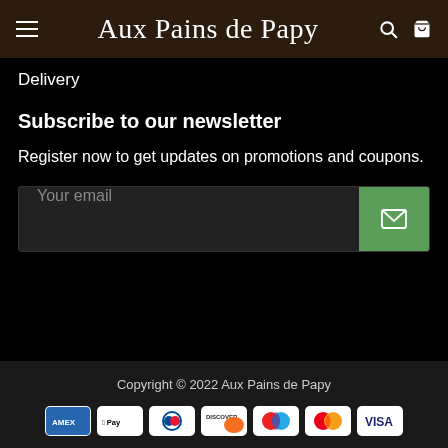Aux Pains de Papy
Delivery
Subscribe to our newsletter
Register now to get updates on promotions and coupons.
Your email
Copyright © 2022 Aux Pains de Papy